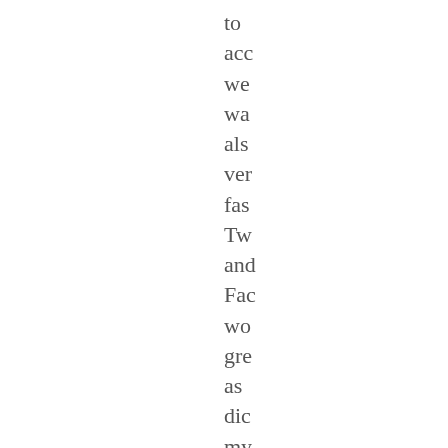to
acc
we
wa
als
ver
fas
Tw
and
Fac
wo
gre
as
dic
my
RS
rea
app
Ne